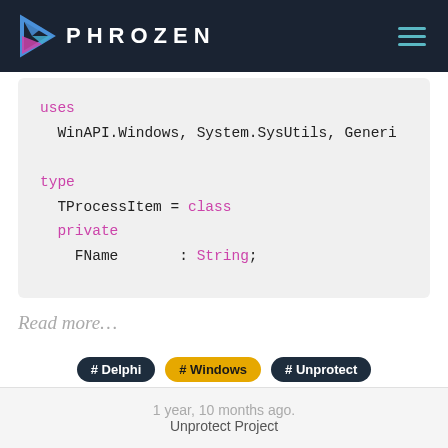PHROZEN
[Figure (screenshot): Code block showing Delphi source code with 'uses WinAPI.Windows, System.SysUtils, Generic...' and 'type TProcessItem = class private FName : String;' with syntax highlighting in pink/magenta for keywords.]
Read more…
# Delphi
# Windows
# Unprotect
# SuspendThread
# WinAPI
1 year, 10 months ago.
Unprotect Project